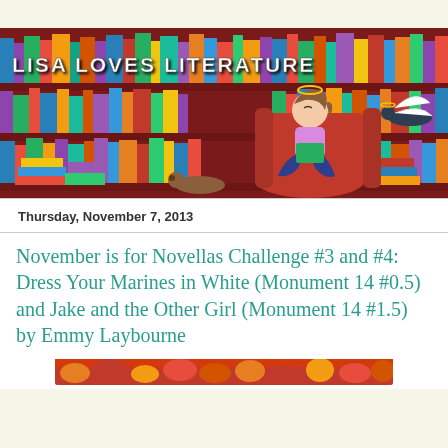[Figure (illustration): Blog header banner for 'Lisa Loves Literature' showing a cartoon bookshelf with colorful book spines, a girl reading in a red armchair, dachshund dogs, and stacked books. Text reads 'LISA LOVES LITERATURE' in white block letters.]
Thursday, November 7, 2013
November is for Novellas Challenge #3 and #4: Dress Your Marines in White (Monument 14 #0.5) and Jake and the Other Girl (Monument 14 #1.5) by Emmy Laybourne
[Figure (photo): Bottom edge of an autumn-themed image with orange and red fall leaves visible at the top of the strip.]